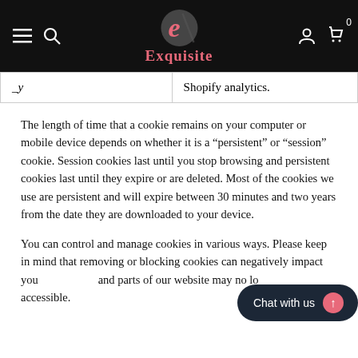Exquisite
| _y | Shopify analytics. |
The length of time that a cookie remains on your computer or mobile device depends on whether it is a “persistent” or “session” cookie. Session cookies last until you stop browsing and persistent cookies last until they expire or are deleted. Most of the cookies we use are persistent and will expire between 30 minutes and two years from the date they are downloaded to your device.
You can control and manage cookies in various ways. Please keep in mind that removing or blocking cookies can negatively impact your experience and parts of our website may no longer be accessible.